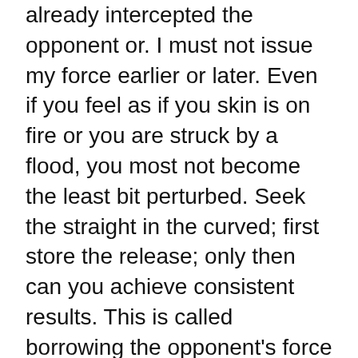already intercepted the opponent or. I must not issue my force earlier or later. Even if you feel as if you skin is on fire or you are struck by a flood, you most not become the least bit perturbed. Seek the straight in the curved; first store the release; only then can you achieve consistent results. This is called borrowing the opponent's force to use against him, or using four ounces to deflect a thousand pounds.
The Spirit is Concentrated
After allowing the first four requirements, it all comes down to concentrating the spirit. When the spirit is concentrated, then the one qi is